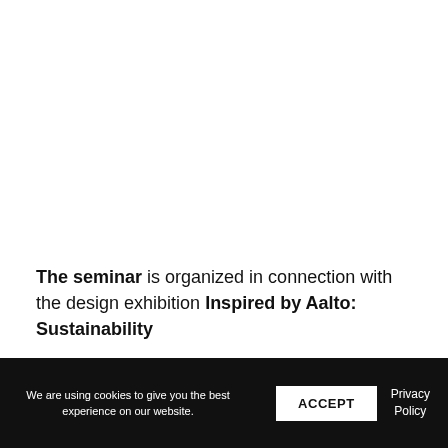The seminar is organized in connection with the design exhibition Inspired by Aalto: Sustainability
We are using cookies to give you the best experience on our website. ACCEPT Privacy Policy